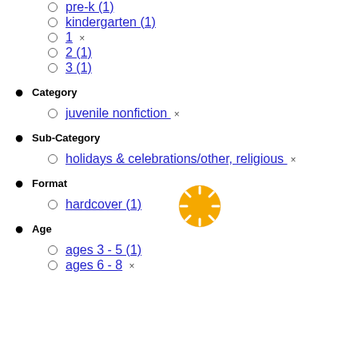pre-k (1)
kindergarten (1)
1 ×
2 (1)
3 (1)
Category
juvenile nonfiction ×
Sub-Category
holidays & celebrations/other, religious ×
Format
hardcover (1)
Age
ages 3 - 5 (1)
ages 6 - 8 ×